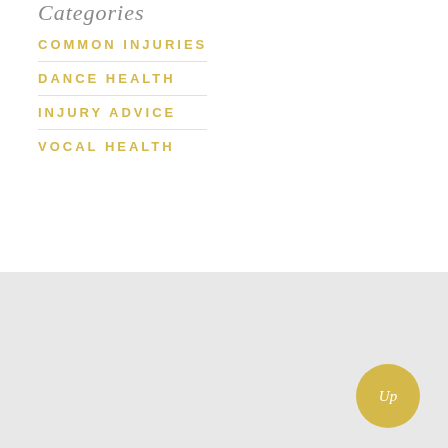Categories
COMMON INJURIES
DANCE HEALTH
INJURY ADVICE
VOCAL HEALTH
Up